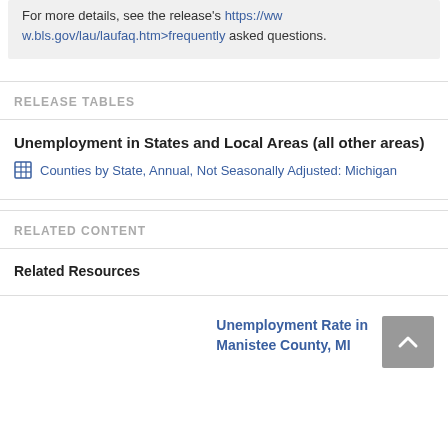For more details, see the release's https://www.bls.gov/lau/laufaq.htm>frequently asked questions.
RELEASE TABLES
Unemployment in States and Local Areas (all other areas)
Counties by State, Annual, Not Seasonally Adjusted: Michigan
RELATED CONTENT
Related Resources
Unemployment Rate in Manistee County, MI